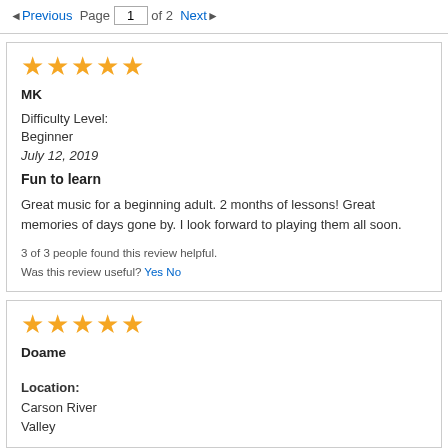Previous Page 1 of 2 Next
★★★★★
MK
Difficulty Level:
Beginner
July 12, 2019
Fun to learn
Great music for a beginning adult. 2 months of lessons! Great memories of days gone by. I look forward to playing them all soon.
3 of 3 people found this review helpful.
Was this review useful? Yes No
★★★★★
Doame
Location:
Carson River
Valley